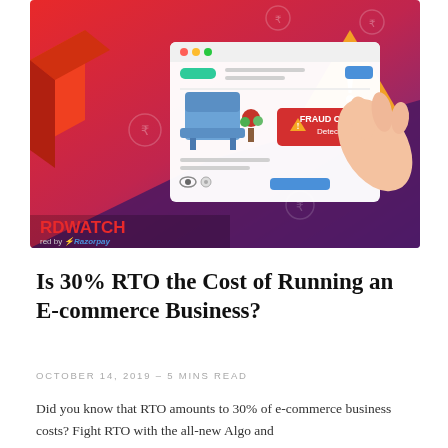[Figure (illustration): Hero illustration showing a browser window with a blue armchair product, a red 'FRAUD ORDER Detected' alert being tapped by a hand, a warning triangle with exclamation mark on right side, and rupee symbols around a red-to-purple gradient background. Bottom left shows 'RDWATCH powered by Razorpay' branding.]
Is 30% RTO the Cost of Running an E-commerce Business?
OCTOBER 14, 2019 - 5 MINS READ
Did you know that RTO amounts to 30% of e-commerce business costs? Fight RTO with the all-new Algo and...